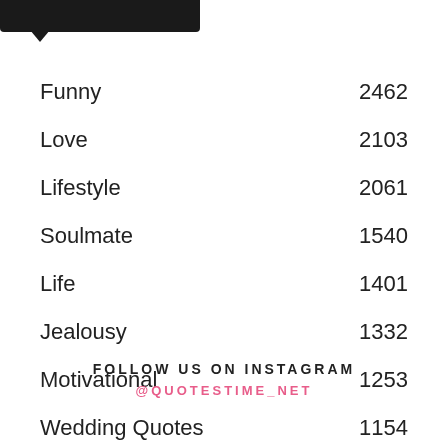[Figure (other): Dark header bar with speech bubble pointer at top left of page]
Funny    2462
Love    2103
Lifestyle    2061
Soulmate    1540
Life    1401
Jealousy    1332
Motivational    1253
Wedding Quotes    1154
Happy New Year    604
FOLLOW US ON INSTAGRAM
@QUOTESTIME_NET